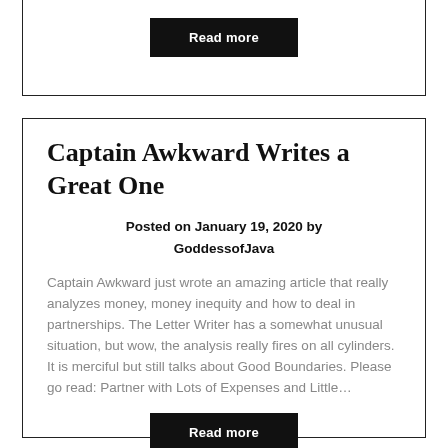[Figure (other): Read more button at top of page inside a bordered card (partial, top cut off)]
Captain Awkward Writes a Great One
Posted on January 19, 2020 by GoddessofJava
Captain Awkward just wrote an amazing article that really analyzes money, money inequity and how to deal in partnerships. The Letter Writer has a somewhat unusual situation, but wow, the analysis really fires on all cylinders. It is merciful but still talks about Good Boundaries. Please go read: Partner with Lots of Expenses and Little…
[Figure (other): Read more button at bottom of second card]